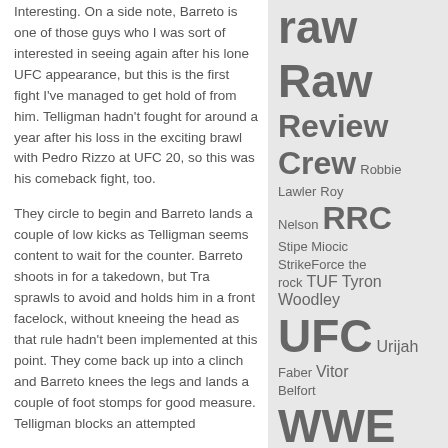Interesting. On a side note, Barreto is one of those guys who I was sort of interested in seeing again after his lone UFC appearance, but this is the first fight I've managed to get hold of from him. Telligman hadn't fought for around a year after his loss in the exciting brawl with Pedro Rizzo at UFC 20, so this was his comeback fight, too.

They circle to begin and Barreto lands a couple of low kicks as Telligman seems content to wait for the counter. Barreto shoots in for a takedown, but Tra sprawls to avoid and holds him in a front facelock, without kneeing the head as that rule hadn't been implemented at this point. They come back up into a clinch and Barreto knees the legs and lands a couple of foot stomps for good measure. Telligman blocks an attempted
raw Raw Review Crew Robbie Lawler Roy Nelson RRC Stipe Miocic StrikeForce the rock TUF Tyron Woodley UFC Urijah Faber Vitor Belfort WWE